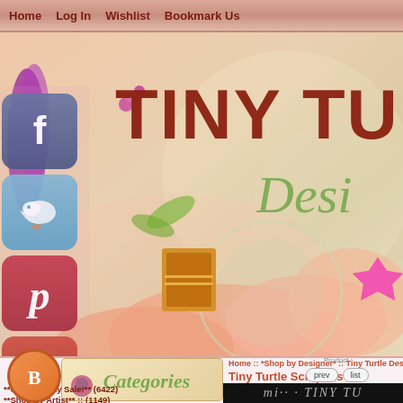Home  Log In  Wishlist  Bookmark Us
[Figure (screenshot): Tiny Turtle Designs website banner with decorative floral scrapbooking imagery, social media icons (Facebook, Twitter, Pinterest, Google+), and bold red 'TINY TU...' text with green italic cursive 'Desi...' subtitle on a soft peach floral background]
[Figure (logo): Orange circular Blogger icon]
[Figure (illustration): Categories label in green italic cursive on a cream/gold background box]
Home :: *Shop by Designer* :: Tiny Turtle Designs ::
Tiny Turtle Scrapkits
Product :
prev  list
**Crazy Friday Sale!** (6422)
**Shop by Artist** :: (1149)
[Figure (screenshot): Dark/black mini preview strip showing Tiny Turtle branding in white/grey italic text]